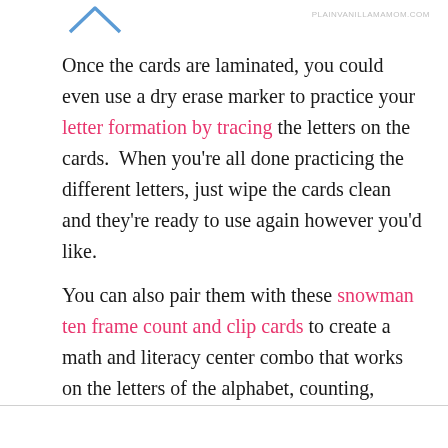Once the cards are laminated, you could even use a dry erase marker to practice your letter formation by tracing the letters on the cards.  When you're all done practicing the different letters, just wipe the cards clean and they're ready to use again however you'd like.
You can also pair them with these snowman ten frame count and clip cards to create a math and literacy center combo that works on the letters of the alphabet, counting, number recognition, and fine motor skills all at the same time!